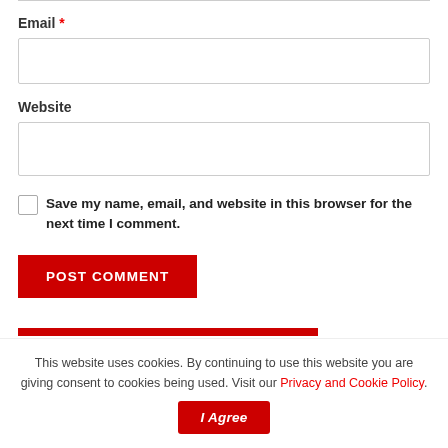Email *
Website
Save my name, email, and website in this browser for the next time I comment.
POST COMMENT
This website uses cookies. By continuing to use this website you are giving consent to cookies being used. Visit our Privacy and Cookie Policy.
I Agree